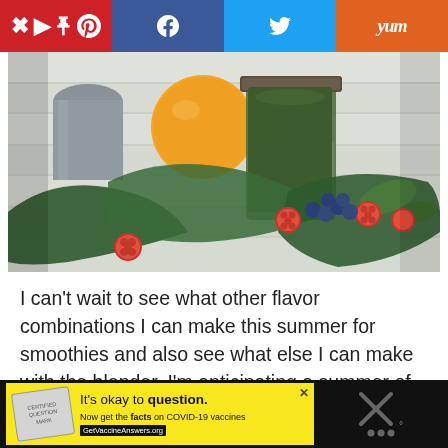[Figure (other): Social sharing bar with Pinterest (red), Facebook (dark blue), Twitter (light blue), and Yummly (orange) buttons]
[Figure (photo): A mason jar filled with green smoothie surrounded by kale leaves, raspberries, and blueberries on a white wood surface, with a whole orange in the background]
I can't wait to see what other flavor combinations I can make this summer for smoothies and also see what else I can make with the blender. I'm anticipating a summer of fresh fruit margaritas!
[Figure (other): COVID-19 vaccine advertisement banner: 'It's okay to question. Now get the facts on COVID-19 vaccines GetVaccineAnswers.org' on yellow background with close button]